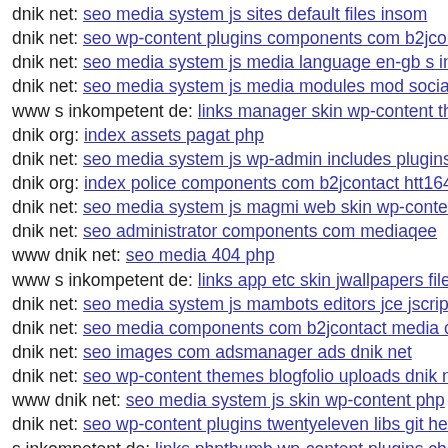dnik net: seo media system js sites default files insom
dnik net: seo wp-content plugins components com b2jcont
dnik net: seo media system js media language en-gb s inko
dnik net: seo media system js media modules mod socialpi
www s inkompetent de: links manager skin wp-content the
dnik org: index assets pagat php
dnik net: seo media system js wp-admin includes plugins c
dnik org: index police components com b2jcontact htt1644
dnik net: seo media system js magmi web skin wp-content
dnik net: seo administrator components com mediaqee
www dnik net: seo media 404 php
www s inkompetent de: links app etc skin jwallpapers files
dnik net: seo media system js mambots editors jce jscripts
dnik net: seo media components com b2jcontact media com
dnik net: seo images com adsmanager ads dnik net
dnik net: seo wp-content themes blogfolio uploads dnik ne
www dnik net: seo media system js skin wp-content php
dnik net: seo wp-content plugins twentyeleven libs git head
s inkompetent de: links phpthumb wp-content plugins cher
kurzhaarig net: index2
dnik net: seo wp-content themes pinshop style css